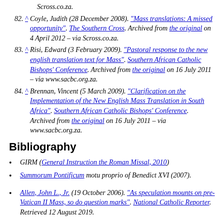Scross.co.za.
82. ^ Coyle, Judith (28 December 2008). "Mass translations: A missed opportunity". The Southern Cross. Archived from the original on 4 April 2012 – via Scross.co.za.
83. ^ Risi, Edward (3 February 2009). "Pastoral response to the new english translation text for Mass". Southern African Catholic Bishops' Conference. Archived from the original on 16 July 2011 – via www.sacbc.org.za.
84. ^ Brennan, Vincent (5 March 2009). "Clarification on the Implementation of the New English Mass Translation in South Africa". Southern African Catholic Bishops' Conference. Archived from the original on 16 July 2011 – via www.sacbc.org.za.
Bibliography
GIRM (General Instruction the Roman Missal, 2010)
Summorum Pontificum motu proprio of Benedict XVI (2007).
Allen, John L., Jr. (19 October 2006). "As speculation mounts on pre-Vatican II Mass, so do question marks". National Catholic Reporter. Retrieved 12 August 2019.